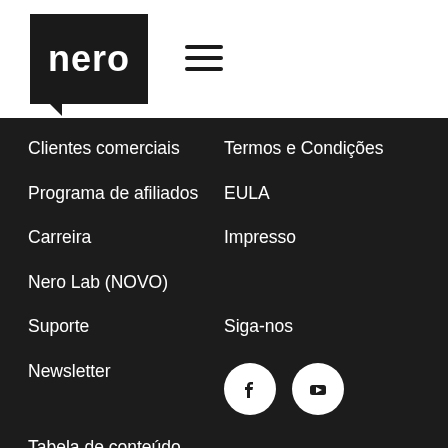[Figure (logo): Nero logo — white text 'nero' on black speech-bubble shaped box]
[Figure (other): Hamburger menu icon (three horizontal lines)]
Clientes comerciais
Termos e Condições
Programa de afiliados
EULA
Carreira
Impresso
Nero Lab (NOVO)
Suporte
Siga-nos
Newsletter
[Figure (other): Facebook and YouTube social media icons (white circles with icons)]
Tabela de conteúdo
© 2022 Nero AG and Subsidiaries. All rights reserved.